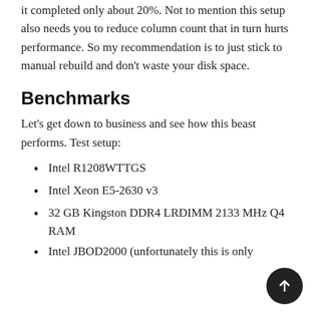it completed only about 20%. Not to mention this setup also needs you to reduce column count that in turn hurts performance. So my recommendation is to just stick to manual rebuild and don't waste your disk space.
Benchmarks
Let's get down to business and see how this beast performs. Test setup:
Intel R1208WTTGS
Intel Xeon E5-2630 v3
32 GB Kingston DDR4 LRDIMM 2133 MHz Q4 RAM
Intel JBOD2000 (unfortunately this is only